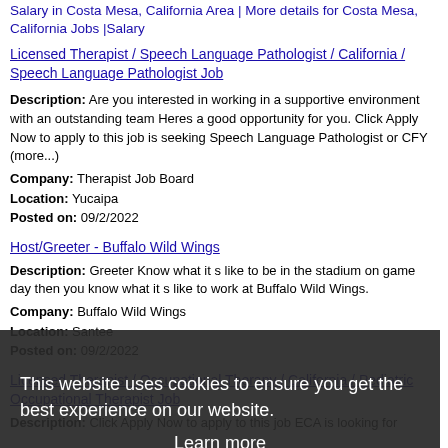Salary in Costa Mesa, California Area | More details for Costa Mesa, California Jobs |Salary
Licensed Therapist / Speech Language Pathologist / California / Speech Language Pathologist Job
Description: Are you interested in working in a supportive environment with an outstanding team Heres a good opportunity for you. Click Apply Now to apply to this job is seeking Speech Language Pathologist or CFY (more...)
Company: Therapist Job Board
Location: Yucaipa
Posted on: 09/2/2022
Host/Greeter - Buffalo Wild Wings
Description: Greeter Know what it s like to be in the stadium on game day then you know what it s like to work at Buffalo Wild Wings.
Company: Buffalo Wild Wings
Location: Santee
Posted on: 09/2/2022
[Figure (screenshot): Cookie consent overlay on dark background with text 'This website uses cookies to ensure you get the best experience on our website.' with 'Learn more' link and 'Got it!' yellow button]
Licensed Therapist / Occupational Therapy / California / Pediatric Occupational Therapist Job
Description: Click Apply Now to apply to this job ECA is looking for